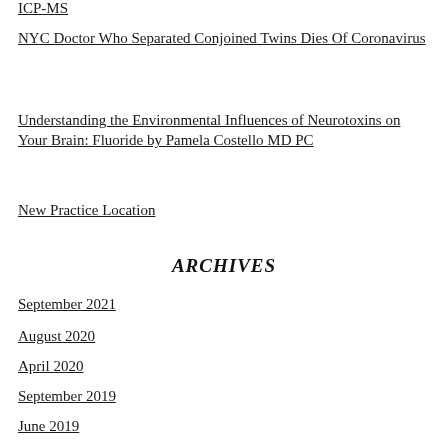ICP-MS
NYC Doctor Who Separated Conjoined Twins Dies Of Coronavirus
Understanding the Environmental Influences of Neurotoxins on Your Brain: Fluoride by Pamela Costello MD PC
New Practice Location
ARCHIVES
September 2021
August 2020
April 2020
September 2019
June 2019
March 2019